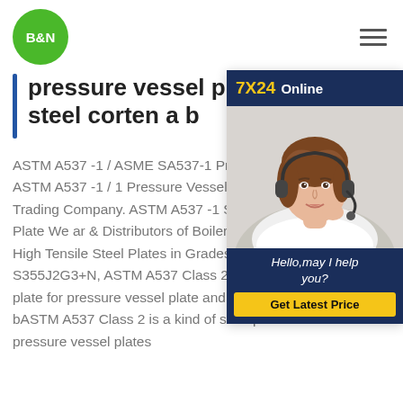[Figure (logo): B&N green circle logo with white bold text]
pressure vessel plate and steel corten a b
[Figure (infographic): 7X24 Online chat widget showing a customer support representative with headset, with text 'Hello,may I help you?' and a 'Get Latest Price' button]
ASTM A537 -1 / ASME SA537-1 Pressure Vessel Plate ASTM A537 -1 - ASTM A537 -1 / SA537-1 Pressure Vessel Plate Products Made India Trading Company. ASTM A537 -1 / SA537-1 Pressure Vessel Plate We are & Distributors of Boiler Quality, Pressure Vessel , High Tensile Steel Plates in Grades S355J2G3, S355J2G3+N, ASTM A537 Class 2,ASTM A537 Class 2 steel plate for pressure vessel plate and a537 cl2 steel corten a bASTM A537 Class 2 is a kind of steel plate used for pressure vessel plates